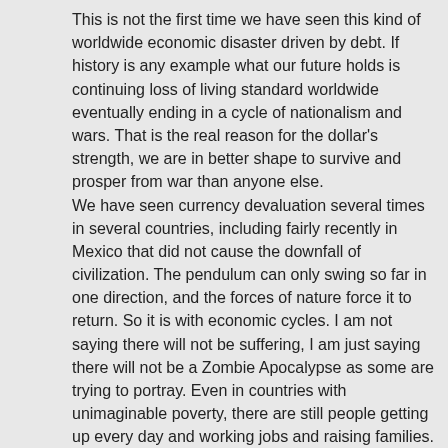This is not the first time we have seen this kind of worldwide economic disaster driven by debt. If history is any example what our future holds is continuing loss of living standard worldwide eventually ending in a cycle of nationalism and wars. That is the real reason for the dollar's strength, we are in better shape to survive and prosper from war than anyone else. We have seen currency devaluation several times in several countries, including fairly recently in Mexico that did not cause the downfall of civilization. The pendulum can only swing so far in one direction, and the forces of nature force it to return. So it is with economic cycles. I am not saying there will not be suffering, I am just saying there will not be a Zombie Apocalypse as some are trying to portray. Even in countries with unimaginable poverty, there are still people getting up every day and working jobs and raising families.
John D. Wheeler on June 1, 2012 at 6:11 pm said:
I'm willing to make a prediction about the future: the elites